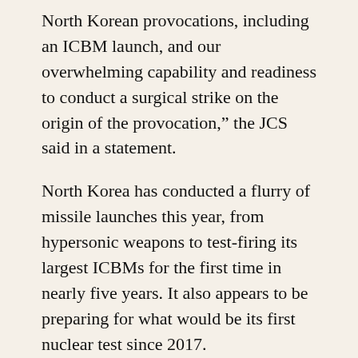North Korean provocations, including an ICBM launch, and our overwhelming capability and readiness to conduct a surgical strike on the origin of the provocation," the JCS said in a statement.
North Korea has conducted a flurry of missile launches this year, from hypersonic weapons to test-firing its largest ICBMs for the first time in nearly five years. It also appears to be preparing for what would be its first nuclear test since 2017.
US and South Korean officials had recently warned that North Korea appeared ready for another weapons test, possibly during Biden's visit, which was his first trip to Asia as president and included a summit with South Korean President Yoon Suk-yeol in Seoul.